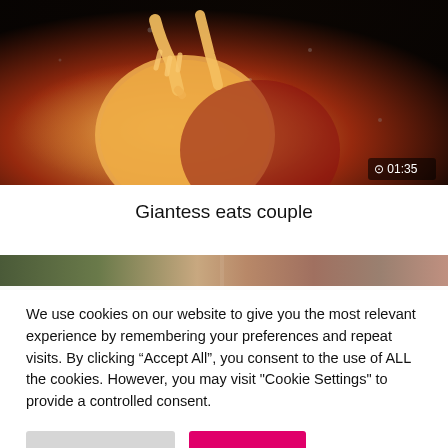[Figure (screenshot): Video thumbnail showing a 3D animated figure with glowing body against dark background, with timer overlay showing 01:35]
Giantess eats couple
[Figure (screenshot): Partial video thumbnail showing outdoor scene]
We use cookies on our website to give you the most relevant experience by remembering your preferences and repeat visits. By clicking “Accept All”, you consent to the use of ALL the cookies. However, you may visit "Cookie Settings" to provide a controlled consent.
Cookie Settings
Accept All